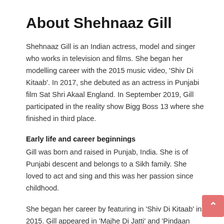About Shehnaaz Gill
Shehnaaz Gill is an Indian actress, model and singer who works in television and films. She began her modelling career with the 2015 music video, 'Shiv Di Kitaab'. In 2017, she debuted as an actress in Punjabi film Sat Shri Akaal England. In September 2019, Gill participated in the reality show Bigg Boss 13 where she finished in third place.
Early life and career beginnings
Gill was born and raised in Punjab, India. She is of Punjabi descent and belongs to a Sikh family. She loved to act and sing and this was her passion since childhood.
She began her career by featuring in 'Shiv Di Kitaab' in 2015. Gill appeared in 'Majhe Di Jatti' and 'Pindaan Diyan Kudiyaan' in 2016. Gill's another music video came with